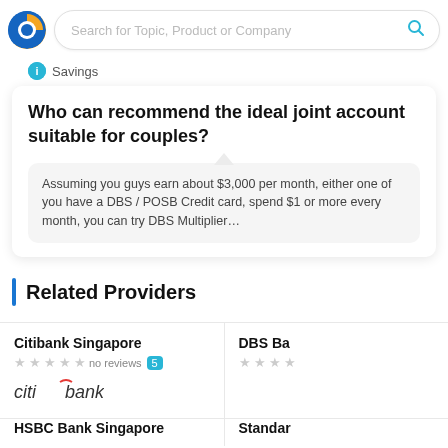Search for Topic, Product or Company
Savings
Who can recommend the ideal joint account suitable for couples?
Assuming you guys earn about $3,000 per month, either one of you have a DBS / POSB Credit card, spend $1 or more every month, you can try DBS Multiplier…
Related Providers
Citibank Singapore
no reviews  5
DBS Ba
HSBC Bank Singapore
Standar